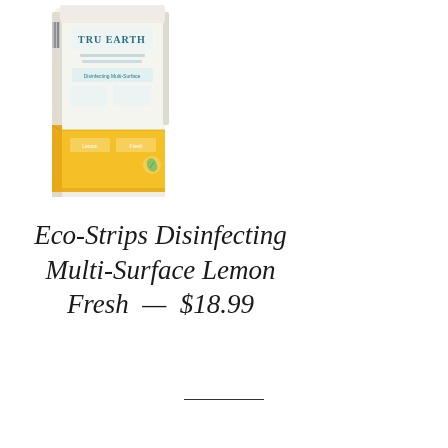[Figure (photo): TruEarth Eco-Strips Disinfecting Multi-Surface Lemon Fresh product package, tall rectangular box with white upper portion showing TruEarth logo and product details, lower portion yellow/gold color]
Eco-Strips Disinfecting Multi-Surface Lemon Fresh — $18.99